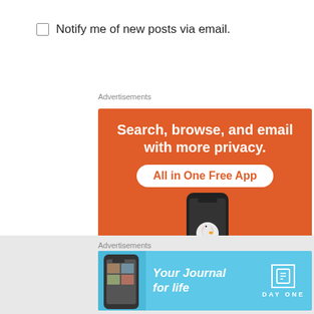Notify me of new posts via email.
Advertisements
[Figure (illustration): DuckDuckGo advertisement: orange background with text 'Search, browse, and email with more privacy. All in One Free App' and a phone showing the DuckDuckGo duck logo.]
Advertisements
[Figure (illustration): DayOne app advertisement on light blue background: 'Your Journal for life' with DayOne logo and phone graphic.]